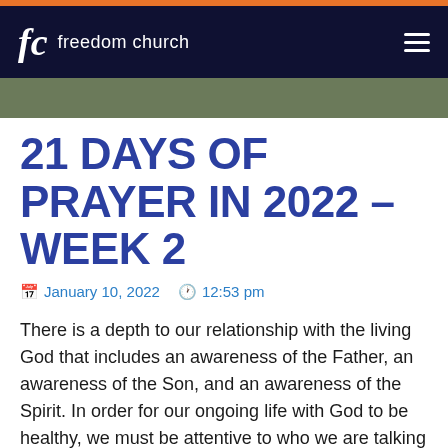fc freedom church
21 DAYS OF PRAYER IN 2022 – WEEK 2
January 10, 2022  12:53 pm
There is a depth to our relationship with the living God that includes an awareness of the Father, an awareness of the Son, and an awareness of the Spirit. In order for our ongoing life with God to be healthy, we must be attentive to who we are talking to.